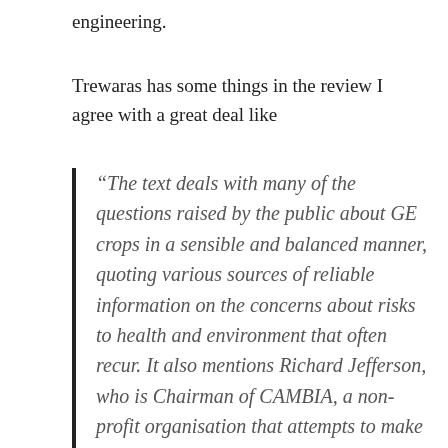engineering.
Trewaras has some things in the review I agree with a great deal like
“The text deals with many of the questions raised by the public about GE crops in a sensible and balanced manner, quoting various sources of reliable information on the concerns about risks to health and environment that often recur. It also mentions Richard Jefferson, who is Chairman of CAMBIA, a non-profit organisation that attempts to make the tools of biotechnology widely and freely